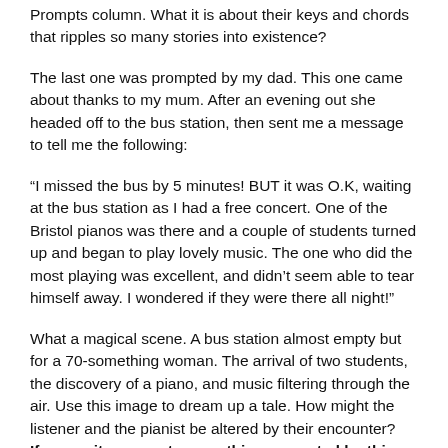Prompts column. What it is about their keys and chords that ripples so many stories into existence?
The last one was prompted by my dad. This one came about thanks to my mum. After an evening out she headed off to the bus station, then sent me a message to tell me the following:
“I missed the bus by 5 minutes! BUT it was O.K, waiting at the bus station as I had a free concert. One of the Bristol pianos was there and a couple of students turned up and began to play lovely music. The one who did the most playing was excellent, and didn’t seem able to tear himself away. I wondered if they were there all night!”
What a magical scene. A bus station almost empty but for a 70-something woman. The arrival of two students, the discovery of a piano, and music filtering through the air. Use this image to dream up a tale. How might the listener and the pianist be altered by their encounter?
If you write or create something prompted by this, please send an email to Judy(at)socket creative.com to let me know. With your permission, I might publish